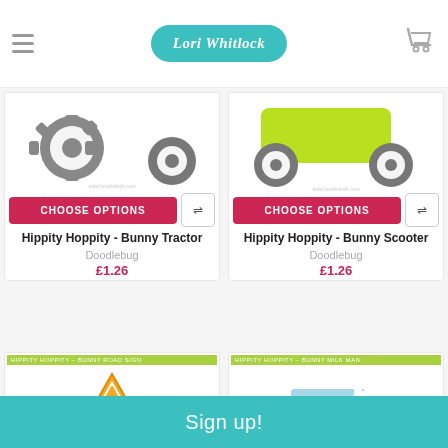Lori Whitlock
[Figure (screenshot): Top product: Hippity Hoppity - Bunny Tractor (partial image of tractor wheels/gear)]
CHOOSE OPTIONS
Hippity Hoppity - Bunny Tractor
Doodlebug
£1.26
[Figure (screenshot): Top product: Hippity Hoppity - Bunny Scooter (partial image of green scooter wheels)]
CHOOSE OPTIONS
Hippity Hoppity - Bunny Scooter
Doodlebug
£1.26
[Figure (screenshot): Bottom product: Bunny road sign - orange triangle sign with bunny silhouette]
[Figure (screenshot): Bottom product: Easter Express - bunny in pastel Easter Express vehicle]
Sign up!